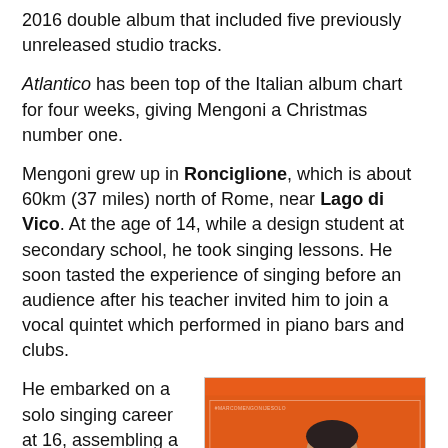2016 double album that included five previously unreleased studio tracks.
Atlantico has been top of the Italian album chart for four weeks, giving Mengoni a Christmas number one.
Mengoni grew up in Ronciglione, which is about 60km (37 miles) north of Rome, near Lago di Vico. At the age of 14, while a design student at secondary school, he took singing lessons. He soon tasted the experience of singing before an audience after his teacher invited him to join a vocal quintet which performed in piano bars and clubs.
He embarked on a solo singing career at 16, assembling a group of backing musicians to perform in small clubs, mixing covers with his own songs. At 19 he moved to Rome to
[Figure (photo): Black and white portrait photo of Marco Mengoni on an orange background, with the text MARCOMENGONI at the bottom.]